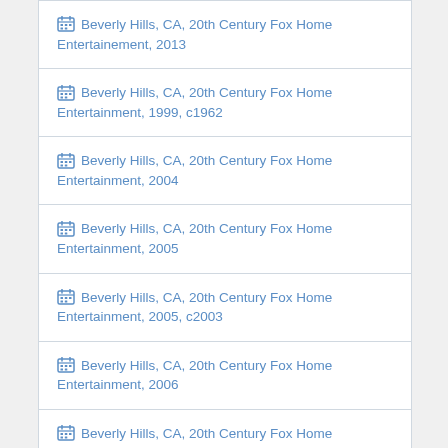Beverly Hills, CA, 20th Century Fox Home Entertainement, 2013
Beverly Hills, CA, 20th Century Fox Home Entertainment, 1999, c1962
Beverly Hills, CA, 20th Century Fox Home Entertainment, 2004
Beverly Hills, CA, 20th Century Fox Home Entertainment, 2005
Beverly Hills, CA, 20th Century Fox Home Entertainment, 2005, c2003
Beverly Hills, CA, 20th Century Fox Home Entertainment, 2006
Beverly Hills, CA, 20th Century Fox Home Entertainment, 2009